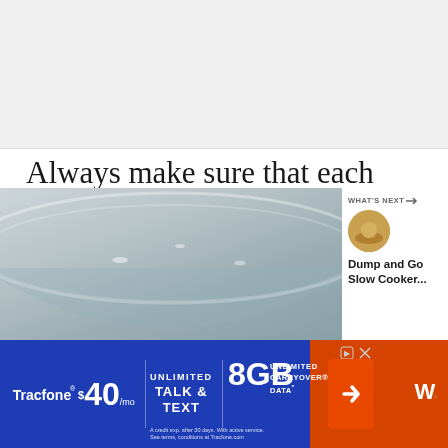[Figure (photo): Top portion of a food/recipe article page showing a partially visible image area]
Always make sure that each one is the same thickness and size so they bake evenly, 1/2 inch thick is usually great for homemade biscuits in air fryer.
[Figure (photo): Close-up photo of a glass or metal mixing bowl, with a small circular thumbnail of a food dish in the upper right. A 'WHAT'S NEXT' panel shows 'Dump and Go Slow Cooker...']
[Figure (other): Tracfone advertisement banner: $40/mo Unlimited Talk & Text, 8GB Unlimited Carryover Data]